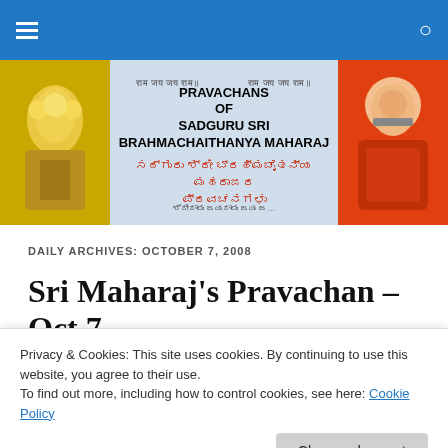Navigation bar with menu and search icons
[Figure (illustration): Website banner showing Pravachans of Sadguru Sri Brahmachaithanya Maharaj with deity statue image on left, guru portrait on right, and Sanskrit/Kannada text in center]
DAILY ARCHIVES: OCTOBER 7, 2008
Sri Maharaj's Pravachan – Oct 7
Privacy & Cookies: This site uses cookies. By continuing to use this website, you agree to their use. To find out more, including how to control cookies, see here: Cookie Policy
Close and accept
A person who leads a morally pure life can do with a